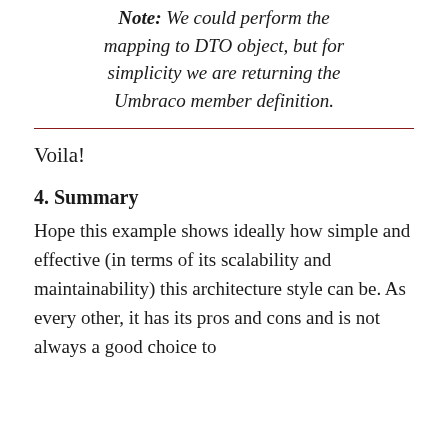Note: We could perform the mapping to DTO object, but for simplicity we are returning the Umbraco member definition.
Voila!
4. Summary
Hope this example shows ideally how simple and effective (in terms of its scalability and maintainability) this architecture style can be. As every other, it has its pros and cons and is not always a good choice to